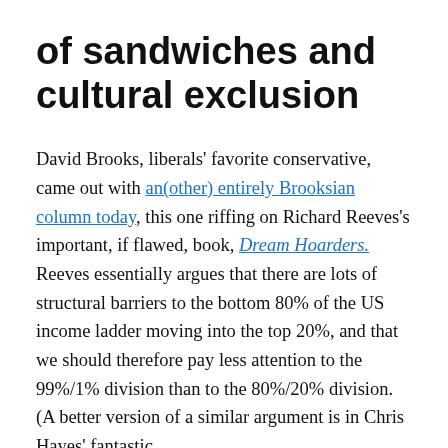of sandwiches and cultural exclusion
David Brooks, liberals' favorite conservative, came out with an(other) entirely Brooksian column today, this one riffing on Richard Reeves's important, if flawed, book, Dream Hoarders. Reeves essentially argues that there are lots of structural barriers to the bottom 80% of the US income ladder moving into the top 20%, and that we should therefore pay less attention to the 99%/1% division than to the 80%/20% division. (A better version of a similar argument is in Chris Hayes' fantastic